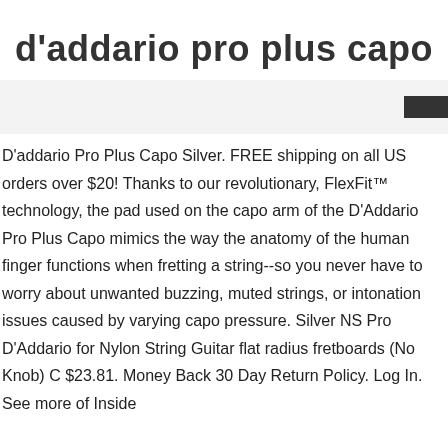d'addario pro plus capo
[Figure (other): Gray banner bar with a dark rectangle on the right side]
D'addario Pro Plus Capo Silver. FREE shipping on all US orders over $20! Thanks to our revolutionary, FlexFit™ technology, the pad used on the capo arm of the D'Addario Pro Plus Capo mimics the way the anatomy of the human finger functions when fretting a string--so you never have to worry about unwanted buzzing, muted strings, or intonation issues caused by varying capo pressure. Silver NS Pro D'Addario for Nylon String Guitar flat radius fretboards (No Knob) C $23.81. Money Back 30 Day Return Policy. Log In. See more of Inside